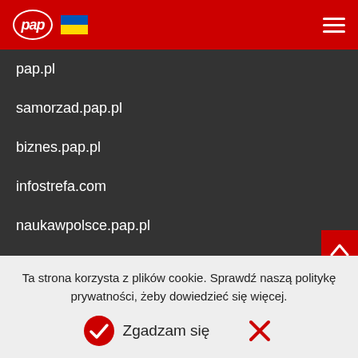PAP logo and navigation header
pap.pl
samorzad.pap.pl
biznes.pap.pl
infostrefa.com
naukawpolsce.pap.pl
dzieje.pl
pap-mediaroom.pl
kurier.pap.pl
Ta strona korzysta z plików cookie. Sprawdź naszą politykę prywatności, żeby dowiedzieć się więcej.
Zgadzam się